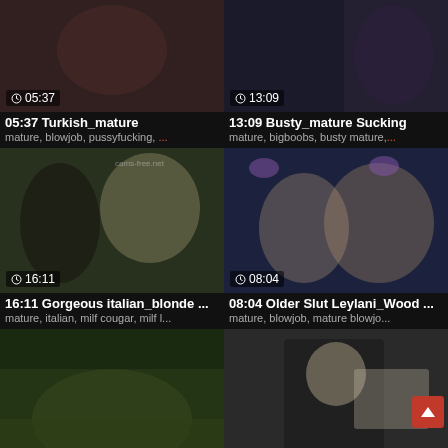[Figure (screenshot): Video thumbnail grid showing 6 adult video thumbnails with titles and tags on dark background]
05:37 Turkish_mature
mature, blowjob, pussyfucking, ...
13:09 Busty_mature Sucking
mature, bigboobs, busty mature,...
16:11 Gorgeous italian_blonde ...
mature, italian, milf cougar, milf l...
08:04 Older Slut Leylani_Wood ...
mature, blowjob, mature blowjo...
09:50 Busty Nastyshag Outdoor...
mature, blowjob, outdoor, matur...
20:25 German_mature nun Angie
granny, mature, nonne, jacky